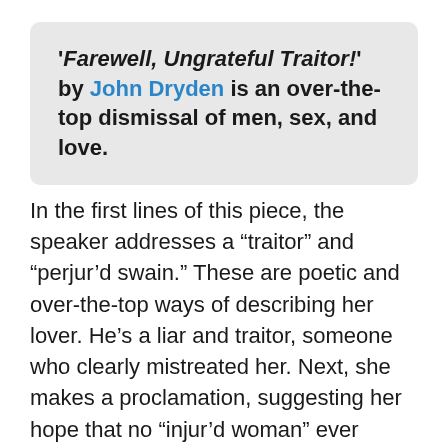'‘Farewell, Ungrateful Traitor!’ by John Dryden is an over-the-top dismissal of men, sex, and love.
In the first lines of this piece, the speaker addresses a “traitor” and “perjur’d swain.” These are poetic and over-the-top ways of describing her lover. He’s a liar and traitor, someone who clearly mistreated her. Next, she makes a proclamation, suggesting her hope that no “injur’d woman” ever “Believe a man again.” It’s clear she’s counting herself among this number. There’s something this person did that’s turned her